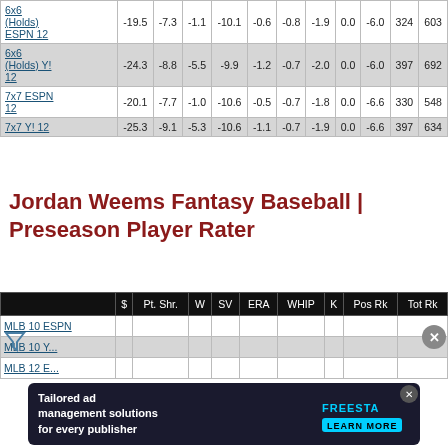|  | $ | Pt. Shr. | W | SV | ERA | WHIP | K | Pos Rk | Tot Rk |
| --- | --- | --- | --- | --- | --- | --- | --- | --- | --- |
| 6x6 (Holds) ESPN 12 | -19.5 | -7.3 | -1.1 | -10.1 | -0.6 | -0.8 | -1.9 | 0.0 | -6.0 | 324 | 603 |
| 6x6 (Holds) Y! 12 | -24.3 | -8.8 | -5.5 | -9.9 | -1.2 | -0.7 | -2.0 | 0.0 | -6.0 | 397 | 692 |
| 7x7 ESPN 12 | -20.1 | -7.7 | -1.0 | -10.6 | -0.5 | -0.7 | -1.8 | 0.0 | -6.6 | 330 | 548 |
| 7x7 Y! 12 | -25.3 | -9.1 | -5.3 | -10.6 | -1.1 | -0.7 | -1.9 | 0.0 | -6.6 | 397 | 634 |
Jordan Weems Fantasy Baseball | Preseason Player Rater
|  | $ | Pt. Shr. | W | SV | ERA | WHIP | K | Pos Rk | Tot Rk |
| --- | --- | --- | --- | --- | --- | --- | --- | --- | --- |
| MLB 10 ESPN |  |  |  |  |  |  |  |  |  |  |  |
| MLB 10 Y... |  |  |  |  |  |  |  |  |  |  |  |
| MLB 12 E... |  |  |  |  |  |  |  |  |  |  |  |
[Figure (other): Advertisement banner: Tailored ad management solutions for every publisher - FreeStart]